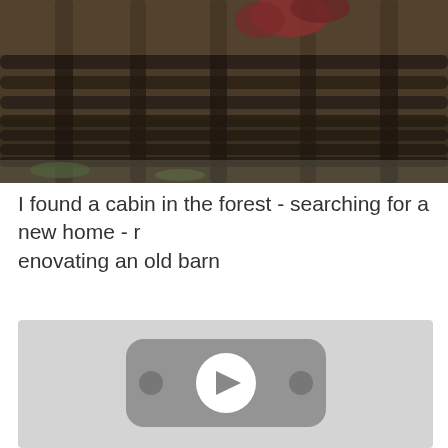[Figure (photo): Outdoor photo showing wooden fence logs and forest background with plants/flowers visible at top]
I found a cabin in the forest - searching for a new home - renovating an old barn
[Figure (screenshot): Video thumbnail placeholder showing a YouTube-style play button icon on a light gray background]